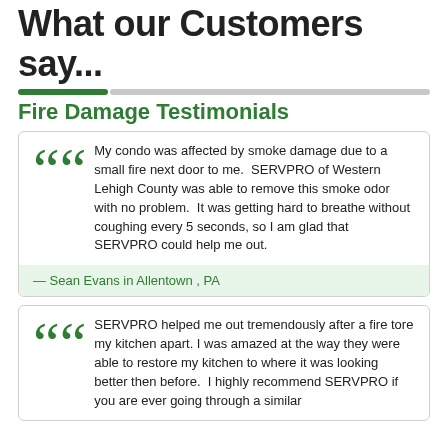What our Customers say...
Fire Damage Testimonials
My condo was affected by smoke damage due to a small fire next door to me.  SERVPRO of Western Lehigh County was able to remove this smoke odor with no problem.  It was getting hard to breathe without coughing every 5 seconds, so I am glad that SERVPRO could help me out.
— Sean Evans in Allentown , PA
SERVPRO helped me out tremendously after a fire tore my kitchen apart. I was amazed at the way they were able to restore my kitchen to where it was looking better then before.  I highly recommend SERVPRO if you are ever going through a similar